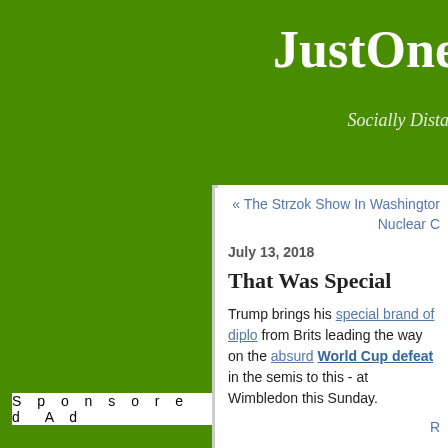JustOne... Socially Distan...
Sponsored Ad
« The Strzok Show In Washington... Nuclear C...
July 13, 2018
That Was Special
Trump brings his special brand of diplo... from Brits leading the way on the absurd... World Cup defeat in the semis to this - at Wimbledon this Sunday.
Comments
I listened to a Little Ben Shap... tonight. Some black UK bird a... how it leads to white privilege...